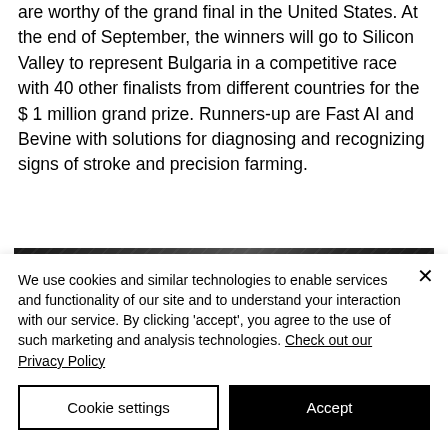are worthy of the grand final in the United States. At the end of September, the winners will go to Silicon Valley to represent Bulgaria in a competitive race with 40 other finalists from different countries for the $ 1 million grand prize. Runners-up are Fast AI and Bevine with solutions for diagnosing and recognizing signs of stroke and precision farming.
[Figure (photo): Dark grayscale photo strip showing what appears to be an industrial or architectural interior scene]
We use cookies and similar technologies to enable services and functionality of our site and to understand your interaction with our service. By clicking 'accept', you agree to the use of such marketing and analysis technologies. Check out our Privacy Policy